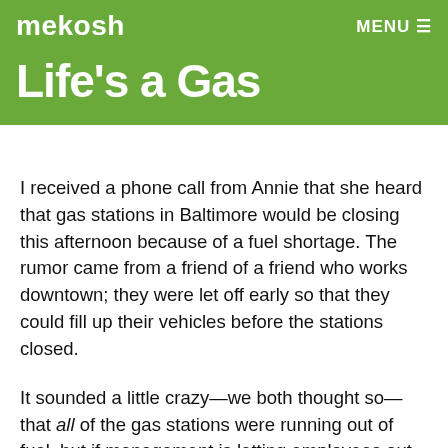mekosh    MENU
Life's a Gas
I received a phone call from Annie that she heard that gas stations in Baltimore would be closing this afternoon because of a fuel shortage. The rumor came from a friend of a friend who works downtown; they were let off early so that they could fill up their vehicles before the stations closed.
It sounded a little crazy—we both thought so—that all of the gas stations were running out of fuel, but if management is letting employees out early, it can't be completely false. So, I figured I would put a few gallons in just-in-case. The gas station closest to Annie's apartment closed(!) because the tanks were empty; the station's mini-mart was still open, in case you like visiting fuel-free gas stations for